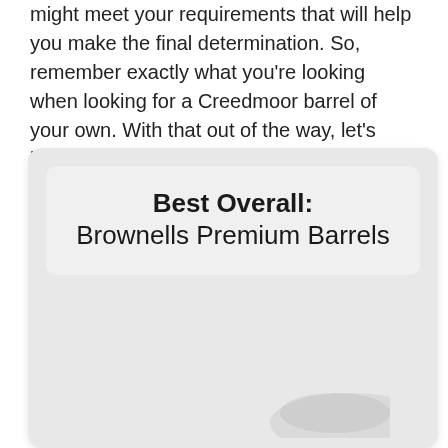might meet your requirements that will help you make the final determination. So, remember exactly what you're looking when looking for a Creedmoor barrel of your own. With that out of the way, let's begin with our reviews:
Best Overall: Brownells Premium Barrels
[Figure (other): Product image area for Brownells Premium Barrels (partially visible at bottom of card)]